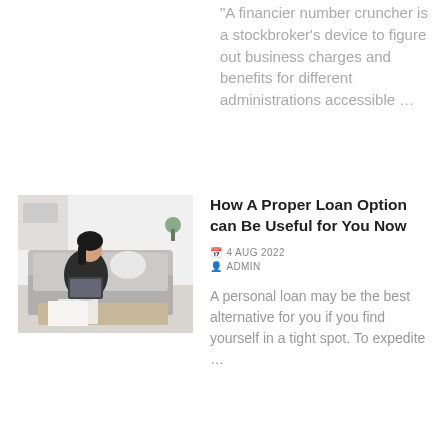"A financier number cruncher is a stockbroker's device to figure out business charges and benefits for different administrations accessible …
[Figure (photo): Woman sitting on sofa reviewing financial documents with a tablet and papers on the coffee table]
How A Proper Loan Option can Be Useful for You Now
4 AUG 2022
ADMIN
A personal loan may be the best alternative for you if you find yourself in a tight spot. To expedite …